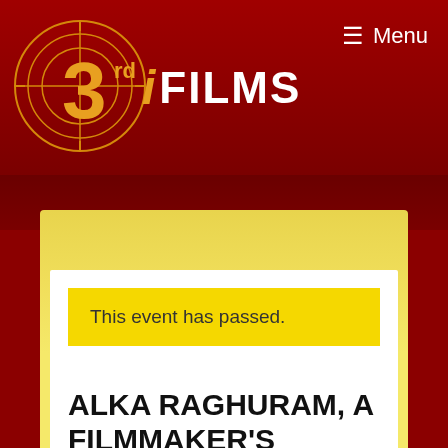[Figure (logo): 3rd i Films logo: circular crosshair design with orange '3' and 'rd' superscript, italic 'i', followed by FILMS in white text on dark red background]
≡ Menu
This event has passed.
ALKA RAGHURAM, A FILMMAKER'S